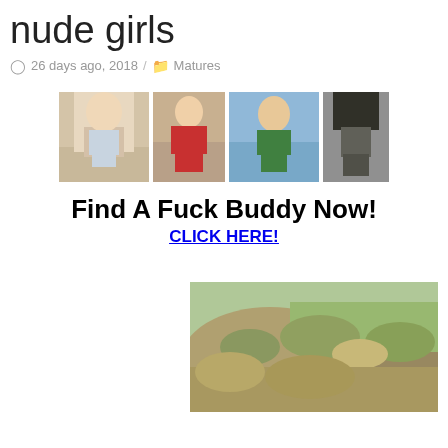nude girls
26 days ago, 2018 / Matures
[Figure (other): Advertisement banner with four photos of women in bikinis, headline 'Find A Fuck Buddy Now!' and link 'CLICK HERE!']
[Figure (photo): Partial photo showing outdoor hillside landscape with dry brush/shrubs]